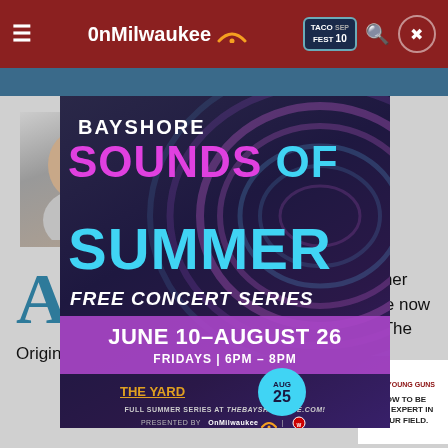OnMilwaukee
[Figure (advertisement): Bayshore Sounds of Summer Free Concert Series ad overlay. June 10-August 26. Fridays 6PM-8PM. The Yard. Full Summer Series at thebayshorelife.com. Presented by OnMilwaukee.]
By Bobby Tanzilo
Senior Editor/Writer
Published Nov 23, 2022, 9:04 AM
A lot of us who probably always call the former Grand Avenue "the mall" but don't go there now expecting to see familiar sights like bear, The Original Cookie Company floor food court.